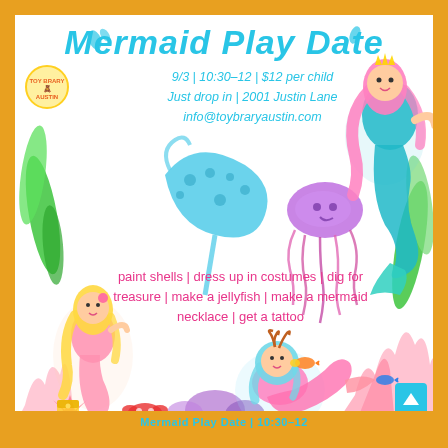Mermaid Play Date
9/3 | 10:30-12 | $12 per child
Just drop in | 2001 Justin Lane
info@toybraryaustin.com
[Figure (illustration): Mermaid play date event flyer with colorful mermaid, jellyfish, stingray, seaweed, coral, and ocean themed decorative illustrations]
paint shells | dress up in costumes | dig for treasure | make a jellyfish | make a mermaid necklace | get a tattoo
Mermaid Play Date | 10:30-12